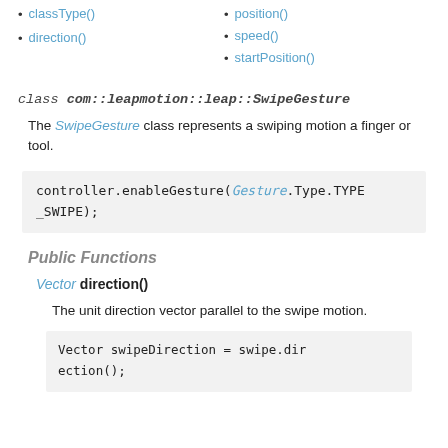classType()
direction()
position()
speed()
startPosition()
class com::leapmotion::leap::SwipeGesture
The SwipeGesture class represents a swiping motion a finger or tool.
controller.enableGesture(Gesture.Type.TYPE_SWIPE);
Public Functions
Vector direction()
The unit direction vector parallel to the swipe motion.
Vector swipeDirection = swipe.direction();